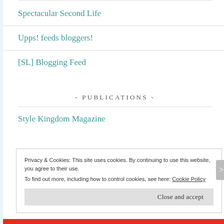Spectacular Second Life
Upps! feeds bloggers!
[SL] Blogging Feed
- PUBLICATIONS -
Style Kingdom Magazine
Privacy & Cookies: This site uses cookies. By continuing to use this website, you agree to their use.
To find out more, including how to control cookies, see here: Cookie Policy
Close and accept